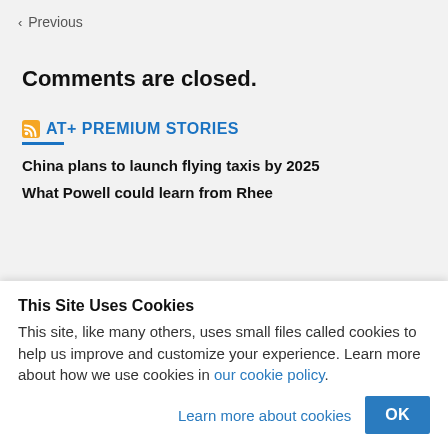< Previous
Comments are closed.
AT+ PREMIUM STORIES
China plans to launch flying taxis by 2025
What Powell could learn from Rhee
This Site Uses Cookies
This site, like many others, uses small files called cookies to help us improve and customize your experience. Learn more about how we use cookies in our cookie policy.
Learn more about cookies   OK